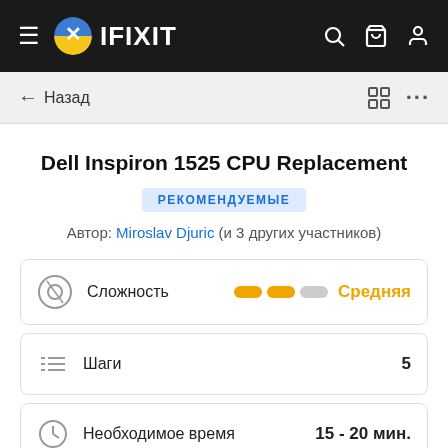IFIXIT
← Назад
Dell Inspiron 1525 CPU Replacement
РЕКОМЕНДУЕМЫЕ
Автор: Miroslav Djuric (и 3 других участников)
Сложность — Средняя
Шаги — 5
Необходимое время — 15 - 20 мин.